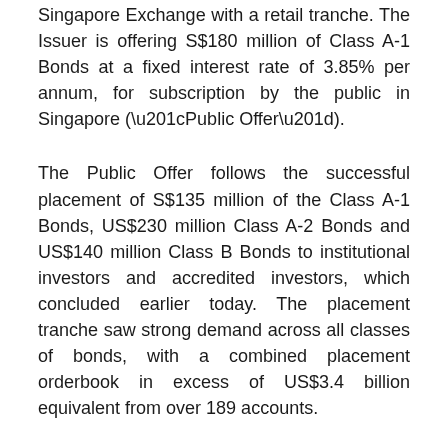Singapore Exchange with a retail tranche. The Issuer is offering S$180 million of Class A-1 Bonds at a fixed interest rate of 3.85% per annum, for subscription by the public in Singapore (“Public Offer”).
The Public Offer follows the successful placement of S$135 million of the Class A-1 Bonds, US$230 million Class A-2 Bonds and US$140 million Class B Bonds to institutional investors and accredited investors, which concluded earlier today. The placement tranche saw strong demand across all classes of bonds, with a combined placement orderbook in excess of US$3.4 billion equivalent from over 189 accounts.